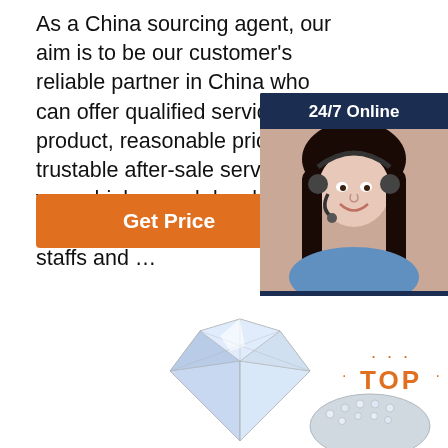As a China sourcing agent, our aim is to be our customer's reliable partner in China who can offer qualified service and product, reasonable price and trustable after-sale service. 16 years high speed development, now we are a big family w... staffs and …
[Figure (photo): Customer service representative with headset, 24/7 Online chat widget with dark blue background, photo of smiling woman with headset, 'Click here for free chat!' text, and orange QUOTATION button]
[Figure (illustration): Orange 'Get Price' button]
[Figure (photo): Diamond/crystal jewelry ring close-up photo at bottom of page, with orange TOP badge in upper right of bottom section]